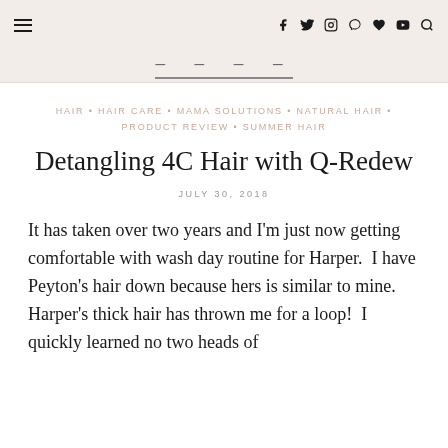≡  f  Twitter  Instagram  Pinterest  ♥  YouTube  🔍
— — — — — —
HAIR • HAIR CARE • MAMA SOLUTIONS • NATURAL HAIR • PRODUCT REVIEW • SUMMER HAIR
Detangling 4C Hair with Q-Redew
JULY 30, 2018
It has taken over two years and I'm just now getting comfortable with wash day routine for Harper.  I have Peyton's hair down because hers is similar to mine.  Harper's thick hair has thrown me for a loop!  I quickly learned no two heads of